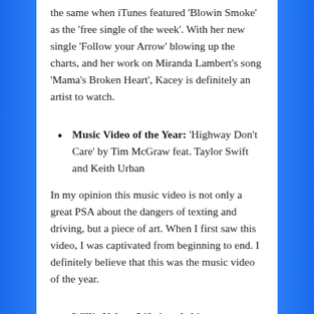the same when iTunes featured 'Blowin Smoke' as the 'free single of the week'. With her new single 'Follow your Arrow' blowing up the charts, and her work on Miranda Lambert's song 'Mama's Broken Heart', Kacey is definitely an artist to watch.
Music Video of the Year: 'Highway Don't Care' by Tim McGraw feat. Taylor Swift and Keith Urban
In my opinion this music video is not only a great PSA about the dangers of texting and driving, but a piece of art. When I first saw this video, I was captivated from beginning to end. I definitely believe that this was the music video of the year.
Willie Nelson Lifetime Achievement Award: